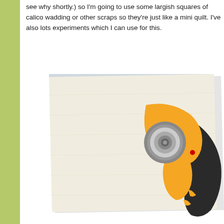see why shortly.) so I'm going to use some largish squares of calico wadding or other scraps so they're just like a mini quilt. I've also lots experiments which I can use for this.
[Figure (photo): A photograph showing a piece of cream/off-white calico fabric layered with wadding, with an orange and black rotary cutter placed on top of the fabric. The background is white.]